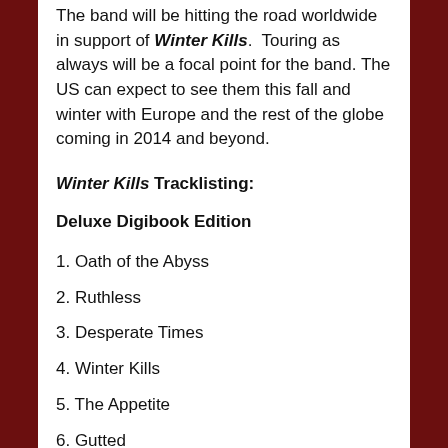The band will be hitting the road worldwide in support of Winter Kills. Touring as always will be a focal point for the band. The US can expect to see them this fall and winter with Europe and the rest of the globe coming in 2014 and beyond.
Winter Kills Tracklisting:
Deluxe Digibook Edition
1. Oath of the Abyss
2. Ruthless
3. Desperate Times
4. Winter Kills
5. The Appetite
6. Gutted